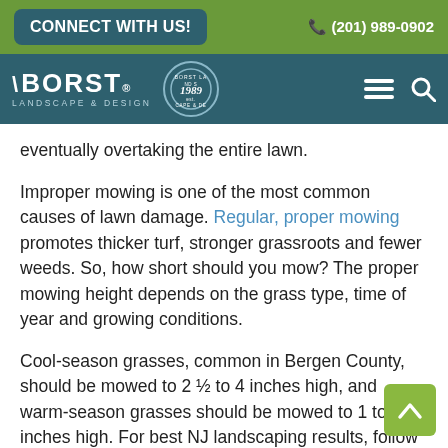CONNECT WITH US! | (201) 989-0902
[Figure (logo): Borst Landscape & Design logo with circular est. 1989 badge, on dark teal navigation bar with hamburger menu and search icon]
eventually overtaking the entire lawn.
Improper mowing is one of the most common causes of lawn damage. Regular, proper mowing promotes thicker turf, stronger grassroots and fewer weeds. So, how short should you mow? The proper mowing height depends on the grass type, time of year and growing conditions.
Cool-season grasses, common in Bergen County, should be mowed to 2 ½ to 4 inches high, and warm-season grasses should be mowed to 1 to 3 inches high. For best NJ landscaping results, follow these important mowing techniques: